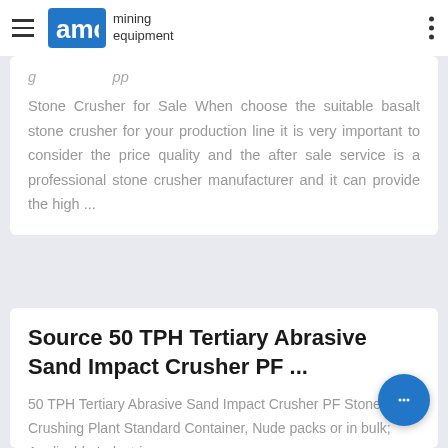AMC mining equipment
Stone Crusher for Sale When choose the suitable basalt stone crusher for your production line it is very important to consider the price quality and the after sale service is a professional stone crusher manufacturer and it can provide the high ...
Source 50 TPH Tertiary Abrasive Sand Impact Crusher PF ...
50 TPH Tertiary Abrasive Sand Impact Crusher PF Stone Crushing Plant Standard Container, Nude packs or in bulk; Applicable Industries: